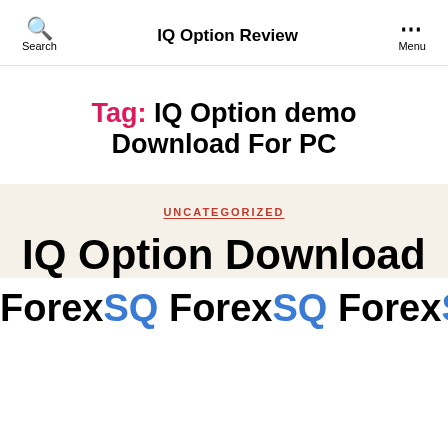Search | IQ Option Review | Menu
Tag: IQ Option demo Download For PC
UNCATEGORIZED
IQ Option Download For ×
ForexSQ ForexSQ ForexSQ Forex